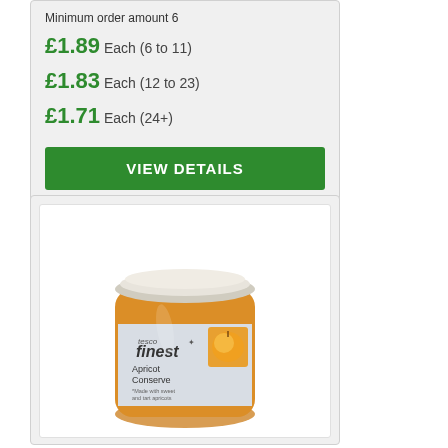Minimum order amount 6
£1.89 Each (6 to 11)
£1.83 Each (12 to 23)
£1.71 Each (24+)
VIEW DETAILS
[Figure (photo): Tesco Finest Apricot Conserve jar with apricot image on label]